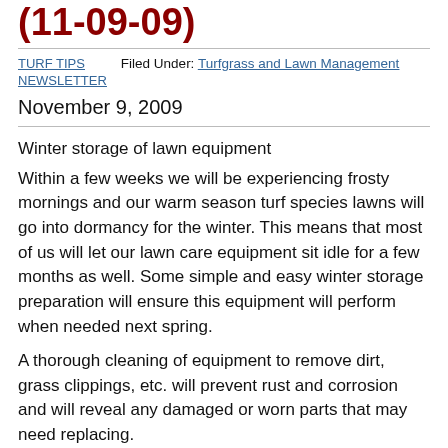(11-09-09)
TURF TIPS NEWSLETTER   Filed Under: Turfgrass and Lawn Management   November 9, 2009
Winter storage of lawn equipment
Within a few weeks we will be experiencing frosty mornings and our warm season turf species lawns will go into dormancy for the winter. This means that most of us will let our lawn care equipment sit idle for a few months as well. Some simple and easy winter storage preparation will ensure this equipment will perform when needed next spring.
A thorough cleaning of equipment to remove dirt, grass clippings, etc. will prevent rust and corrosion and will reveal any damaged or worn parts that may need replacing.